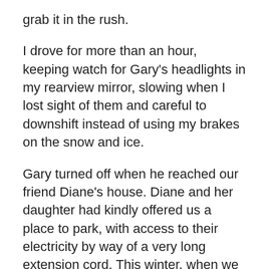grab it in the rush.
I drove for more than an hour, keeping watch for Gary's headlights in my rearview mirror, slowing when I lost sight of them and careful to downshift instead of using my brakes on the snow and ice.
Gary turned off when he reached our friend Diane's house. Diane and her daughter had kindly offered us a place to park, with access to their electricity by way of a very long extension cord. This winter, when we do need my car, it will take us an hour or two to snow machine in and another hour or so to warm the car, hooking up the battery warmer as well as using our gas-powered portable heater, if we need it, to get the engine warm enough to turn over.
Ella and I watched Gary turn as we drove on. We had